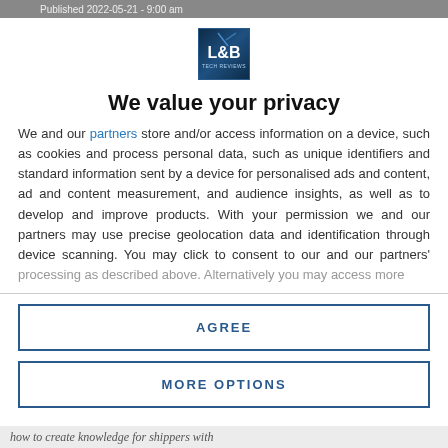Published 2022-05-21 - 9:00 am
[Figure (logo): L&B Tech Reviews logo - blue square with L&B text and 'TECH REVIEWS' subtitle]
We value your privacy
We and our partners store and/or access information on a device, such as cookies and process personal data, such as unique identifiers and standard information sent by a device for personalised ads and content, ad and content measurement, and audience insights, as well as to develop and improve products. With your permission we and our partners may use precise geolocation data and identification through device scanning. You may click to consent to our and our partners' processing as described above. Alternatively you may access more
AGREE
MORE OPTIONS